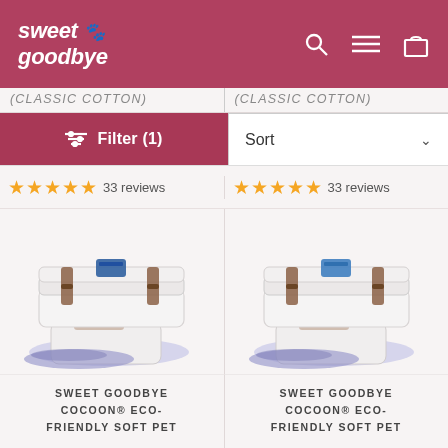[Figure (logo): Sweet Goodbye logo with paw print icon on dark pink/berry header]
(CLASSIC COTTON)
(CLASSIC COTTON)
Filter (1)
Sort
★★★★★ 33 reviews
★★★★★ 33 reviews
[Figure (photo): Sweet Goodbye Cocoon eco-friendly soft pet carrier bag set with patterned fabric]
[Figure (photo): Sweet Goodbye Cocoon eco-friendly soft pet carrier bag set with patterned fabric]
SWEET GOODBYE COCOON® ECO-FRIENDLY SOFT PET
SWEET GOODBYE COCOON® ECO-FRIENDLY SOFT PET